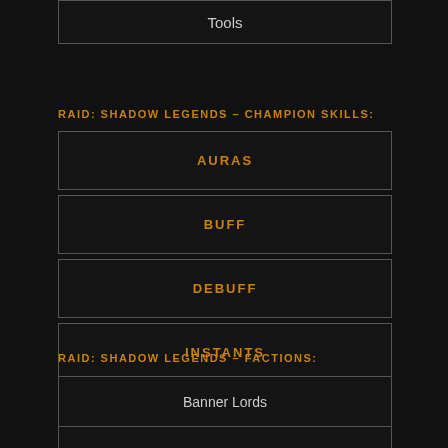Tools
RAID: SHADOW LEGENDS – CHAMPION SKILLS:
AURAS
BUFF
DEBUFF
INSTANTS
RAID: SHADOW LEGENDS – FACTIONS:
Banner Lords